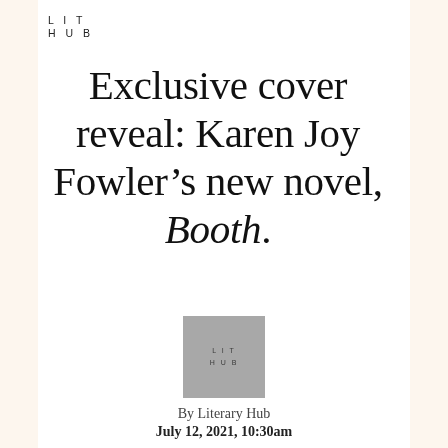LIT HUB
Exclusive cover reveal: Karen Joy Fowler’s new novel, Booth.
[Figure (logo): Literary Hub logo: grey square with 'LIT HUB' text in spaced capitals]
By Literary Hub
July 12, 2021, 10:30am
Karen Joy Fowler has a knack for writing large dysfunctional families (you might